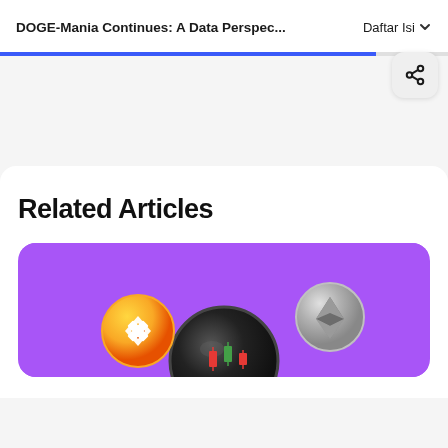DOGE-Mania Continues: A Data Perspec...
Related Articles
[Figure (illustration): Cryptocurrency trading card illustration with purple background, showing a black disc/coin in the center, a gold Binance (BNB) coin on the left, a silver Ethereum (ETH) coin on the right, and candlestick chart elements (red and green) at the bottom.]